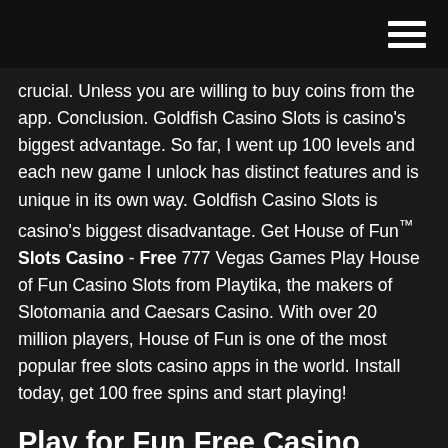crucial. Unless you are willing to buy coins from the app. Conclusion. Goldfish Casino Slots is casino's biggest advantage. So far, I went up 100 levels and each new game I unlock has distinct features and is unique in its own way. Goldfish Casino Slots is casino's biggest disadvantage. Get House of Fun™ Slots Casino - Free 777 Vegas Games Play House of Fun Casino Slots from Playtika, the makers of Slotomania and Caesars Casino. With over 20 million players, House of Fun is one of the most popular free slots casino apps in the world. Install today, get 100 free spins and start playing!
Play for Fun Free Casino Games and Slots. Play free casino